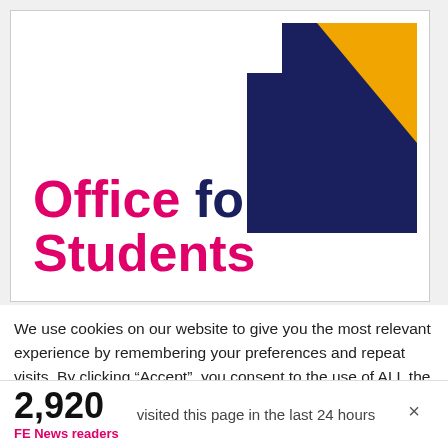[Figure (logo): Office for Students (OfS) logo — bold pink and navy text 'Office for Students' on the left, geometric navy and gold OfS emblem on the right]
We use cookies on our website to give you the most relevant experience by remembering your preferences and repeat visits. By clicking “Accept”, you consent to the use of ALL the cookies. However you may visit Cookie
2,920
FE News readers
visited this page in the last 24 hours